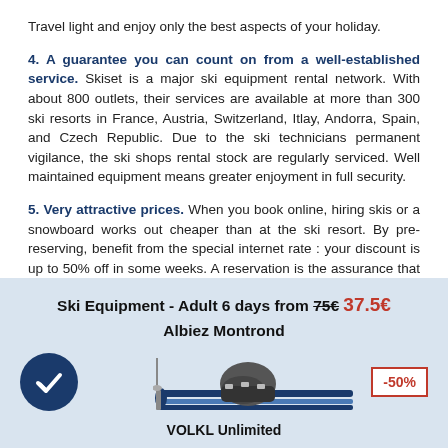Travel light and enjoy only the best aspects of your holiday.
4. A guarantee you can count on from a well-established service. Skiset is a major ski equipment rental network. With about 800 outlets, their services are available at more than 300 ski resorts in France, Austria, Switzerland, Itlay, Andorra, Spain, and Czech Republic. Due to the ski technicians permanent vigilance, the ski shops rental stock are regularly serviced. Well maintained equipment means greater enjoyment in full security.
5. Very attractive prices. When you book online, hiring skis or a snowboard works out cheaper than at the ski resort. By pre-reserving, benefit from the special internet rate : your discount is up to 50% off in some weeks. A reservation is the assurance that you will have no nasty surprises at the end of the ski holiday.
[Figure (infographic): Promotional banner for ski equipment rental. Shows ski equipment image with a checkmark badge (dark blue circle), skis and boots illustration, and a -50% discount badge in red. Text reads: Ski Equipment - Adult 6 days from 75€ 37.5€, Albiez Montrond, VOLKL Unlimited.]